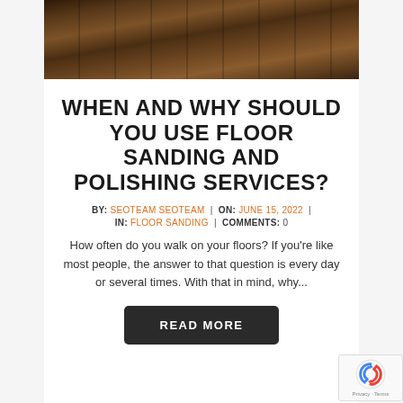[Figure (photo): Overhead view of dark wood floor planks with a polished finish]
WHEN AND WHY SHOULD YOU USE FLOOR SANDING AND POLISHING SERVICES?
BY: SEOTEAM SEOTEAM | ON: JUNE 15, 2022 | IN: FLOOR SANDING | COMMENTS: 0
How often do you walk on your floors? If you're like most people, the answer to that question is every day or several times. With that in mind, why...
READ MORE